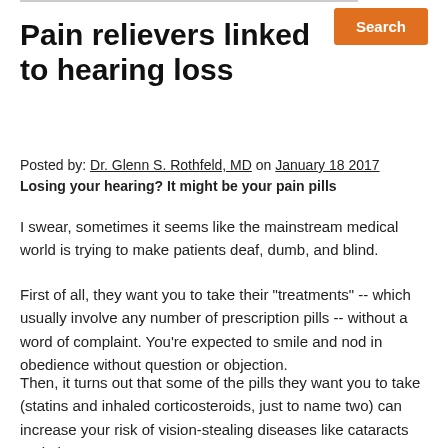Search
Pain relievers linked to hearing loss
Posted by: Dr. Glenn S. Rothfeld, MD on January 18 2017
Losing your hearing? It might be your pain pills
I swear, sometimes it seems like the mainstream medical world is trying to make patients deaf, dumb, and blind.
First of all, they want you to take their "treatments" -- which usually involve any number of prescription pills -- without a word of complaint. You're expected to smile and nod in obedience without question or objection.
Then, it turns out that some of the pills they want you to take (statins and inhaled corticosteroids, just to name two) can increase your risk of vision-stealing diseases like cataracts and glaucoma.